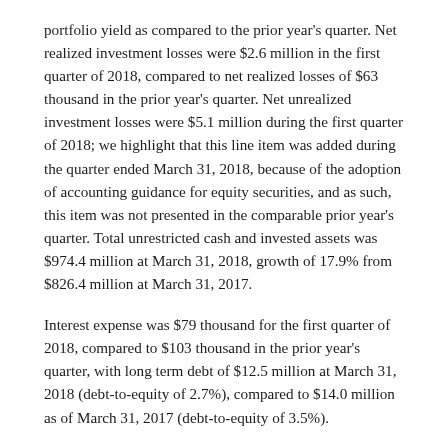portfolio yield as compared to the prior year's quarter. Net realized investment losses were $2.6 million in the first quarter of 2018, compared to net realized losses of $63 thousand in the prior year's quarter. Net unrealized investment losses were $5.1 million during the first quarter of 2018; we highlight that this line item was added during the quarter ended March 31, 2018, because of the adoption of accounting guidance for equity securities, and as such, this item was not presented in the comparable prior year's quarter. Total unrestricted cash and invested assets was $974.4 million at March 31, 2018, growth of 17.9% from $826.4 million at March 31, 2017.
Interest expense was $79 thousand for the first quarter of 2018, compared to $103 thousand in the prior year's quarter, with long term debt of $12.5 million at March 31, 2018 (debt-to-equity of 2.7%), compared to $14.0 million as of March 31, 2017 (debt-to-equity of 3.5%).
The effective tax rate for the first quarter of 2018 was 22.5%, compared to 34.1% in the prior year's quarter. The decrease in our effective tax rate is primarily the result of the enactment of the Tax Cuts and Jobs Act of 2017.